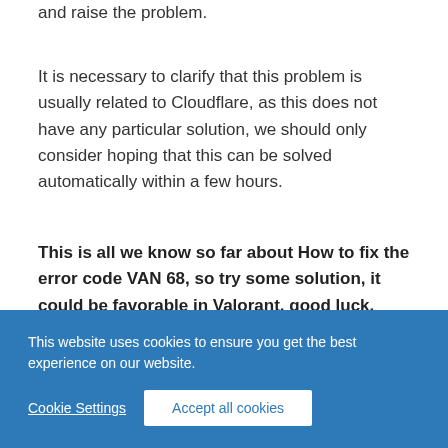and raise the problem.
It is necessary to clarify that this problem is usually related to Cloudflare, as this does not have any particular solution, we should only consider hoping that this can be solved automatically within a few hours.
This is all we know so far about How to fix the error code VAN 68, so try some solution, it could be favorable in Valorant, good luck.
This website uses cookies to ensure you get the best experience on our website.
Cookie Settings
Accept all cookies